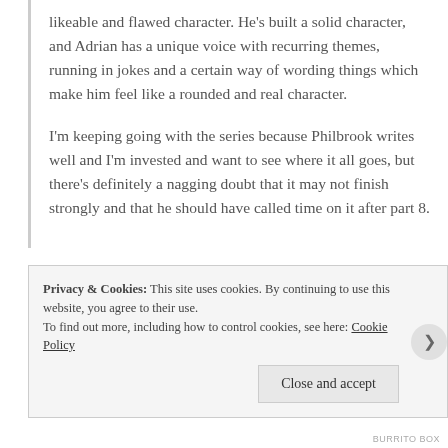likeable and flawed character. He's built a solid character, and Adrian has a unique voice with recurring themes, running in jokes and a certain way of wording things which make him feel like a rounded and real character.
I'm keeping going with the series because Philbrook writes well and I'm invested and want to see where it all goes, but there's definitely a nagging doubt that it may not finish strongly and that he should have called time on it after part 8.
Privacy & Cookies: This site uses cookies. By continuing to use this website, you agree to their use. To find out more, including how to control cookies, see here: Cookie Policy
Close and accept